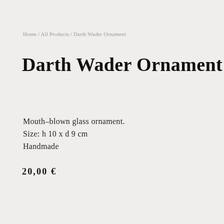Home / All Products / Darth Wader Ornament
Darth Wader Ornament
Mouth–blown glass ornament.
Size: h 10 x d 9 cm
Handmade
20,00 €